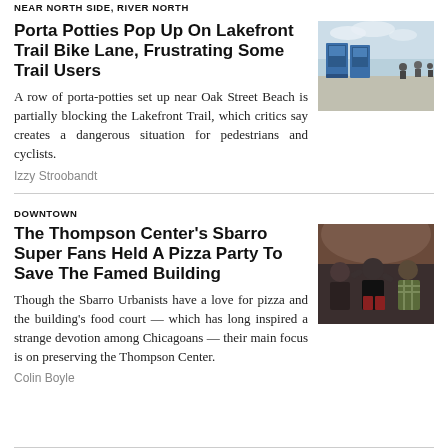NEAR NORTH SIDE, RIVER NORTH
Porta Potties Pop Up On Lakefront Trail Bike Lane, Frustrating Some Trail Users
A row of porta-potties set up near Oak Street Beach is partially blocking the Lakefront Trail, which critics say creates a dangerous situation for pedestrians and cyclists.
Izzy Stroobandt
[Figure (photo): Photo of blue porta-potties on lakefront trail with cyclists in background]
DOWNTOWN
The Thompson Center's Sbarro Super Fans Held A Pizza Party To Save The Famed Building
Though the Sbarro Urbanists have a love for pizza and the building's food court — which has long inspired a strange devotion among Chicagoans — their main focus is on preserving the Thompson Center.
Colin Boyle
[Figure (photo): Photo of people posing at the Thompson Center pizza party event]